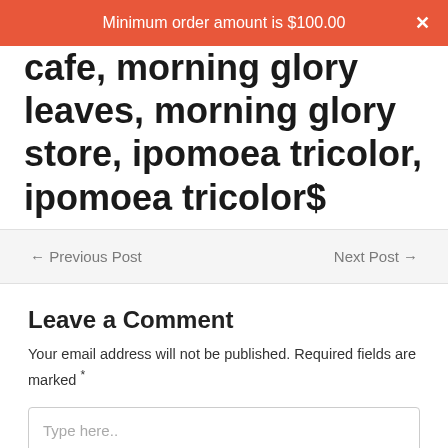Minimum order amount is $100.00  ×
cafe, morning glory leaves, morning glory store, ipomoea tricolor, ipomoea tricolor$
← Previous Post    Next Post →
Leave a Comment
Your email address will not be published. Required fields are marked *
Type here..